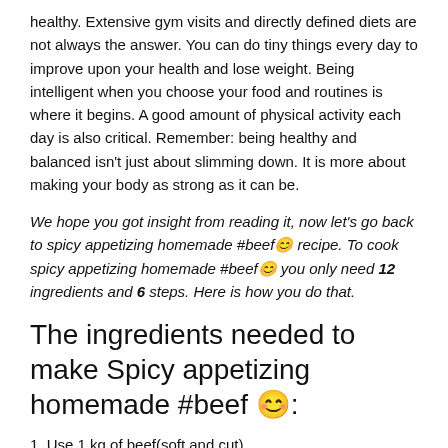healthy. Extensive gym visits and directly defined diets are not always the answer. You can do tiny things every day to improve upon your health and lose weight. Being intelligent when you choose your food and routines is where it begins. A good amount of physical activity each day is also critical. Remember: being healthy and balanced isn't just about slimming down. It is more about making your body as strong as it can be.
We hope you got insight from reading it, now let's go back to spicy appetizing homemade #beef😊 recipe. To cook spicy appetizing homemade #beef😊 you only need 12 ingredients and 6 steps. Here is how you do that.
The ingredients needed to make Spicy appetizing homemade #beef 😊:
1. Use 1 kg of beef(soft and cut).
2. Prepare of Light soy sauce.
3. Get 4 of large tomatoes.